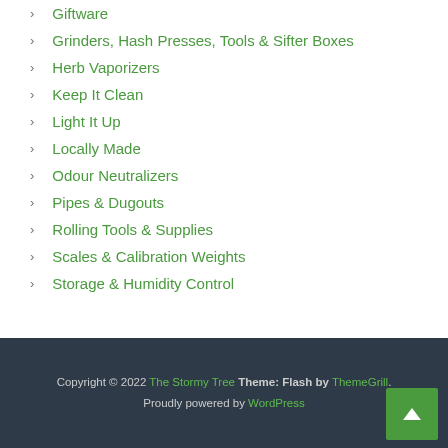Giftware
Grinders, Hash Presses, Tools & Sifter Boxes
Herb Vaporizers
Keep It Clean
Light It Up
Locally Made
Odour Neutralizers
Pipes & Dugouts
Rolling Tools & Supplies
Scales & Calibration Weights
Storage & Humidity Control
Copyright © 2022 The Stormy Tree Theme: Flash by ThemeGrill. Proudly powered by WordPress